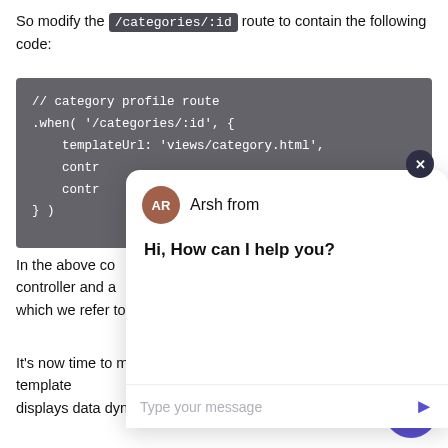So modify the /categories/:id route to contain the following code:
[Figure (screenshot): Code block showing AngularJS category profile route configuration with templateUrl and controller properties, partially obscured by a chat widget overlay. The chat widget shows 'Arsh from' with avatar 'AR', message 'Hi, How can I help you?' and a message input field.]
In the above co... controller and a... which we refer to it in the template.
It's now time to modify the views/category.html template... displays data dynamically instead of showing static HTML co...